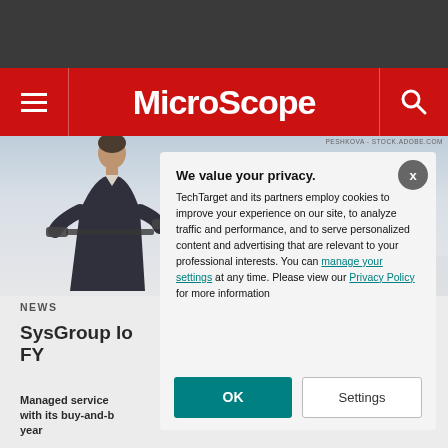MicroScope
[Figure (photo): Man in suit looking through binoculars on a rooftop with city skyline in background]
PESHKOVA - STOCK.ADOBE.COM
NEWS
SysGroup lo... FY
Managed service ... with its buy-and-b... year
We value your privacy. TechTarget and its partners employ cookies to improve your experience on our site, to analyze traffic and performance, and to serve personalized content and advertising that are relevant to your professional interests. You can manage your settings at any time. Please view our Privacy Policy for more information